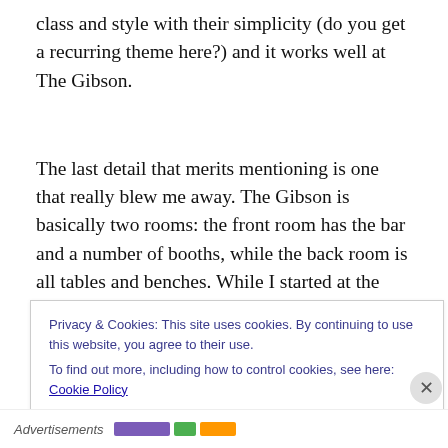class and style with their simplicity (do you get a recurring theme here?) and it works well at The Gibson.
The last detail that merits mentioning is one that really blew me away. The Gibson is basically two rooms: the front room has the bar and a number of booths, while the back room is all tables and benches. While I started at the bar, when my full party had arrived we moved into the
Privacy & Cookies: This site uses cookies. By continuing to use this website, you agree to their use.
To find out more, including how to control cookies, see here: Cookie Policy
Close and accept
Advertisements